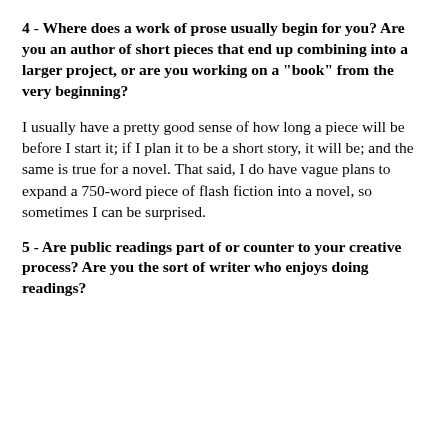4 - Where does a work of prose usually begin for you? Are you an author of short pieces that end up combining into a larger project, or are you working on a "book" from the very beginning?
I usually have a pretty good sense of how long a piece will be before I start it; if I plan it to be a short story, it will be; and the same is true for a novel. That said, I do have vague plans to expand a 750-word piece of flash fiction into a novel, so sometimes I can be surprised.
5 - Are public readings part of or counter to your creative process? Are you the sort of writer who enjoys doing readings?